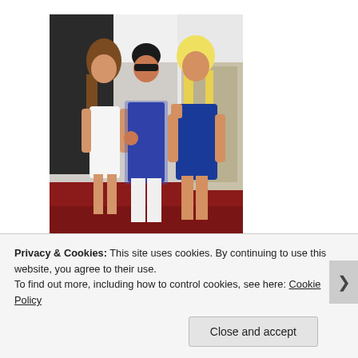[Figure (photo): A photo of three people posing together — a woman in a white dress on the left with long brown hair, a man in the center wearing sunglasses and a blue shirt making a hand gesture, and a woman on the right with long blonde hair wearing a blue one-shoulder mini dress. They appear to be at a party or event with a red carpet and black-and-white backdrop.]
Privacy & Cookies: This site uses cookies. By continuing to use this website, you agree to their use.
To find out more, including how to control cookies, see here: Cookie Policy
Close and accept